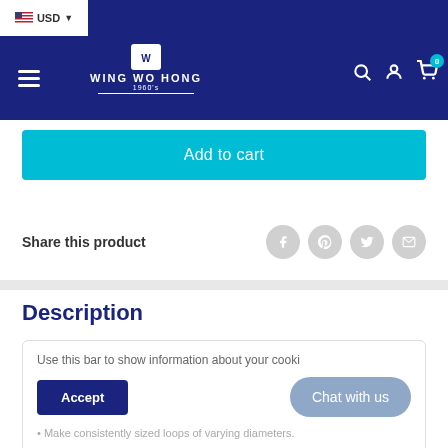Wing Wo Hong — USD currency selector, search, account, cart (0)
Add to cart
Share this product
Description
Use this bar to show information about your cookie policy.
Accept
Chat with us
Make consistently sized loops of varying diameters.